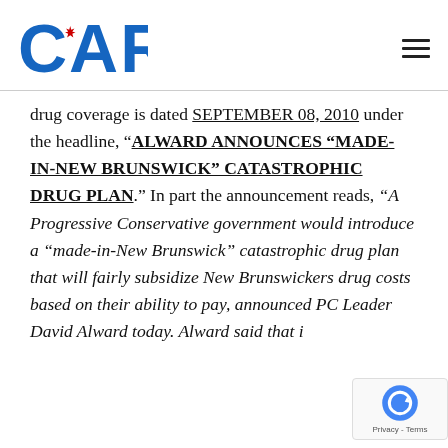CARP
drug coverage is dated SEPTEMBER 08, 2010 under the headline, “ALWARD ANNOUNCES “MADE-IN-NEW BRUNSWICK” CATASTROPHIC DRUG PLAN.” In part the announcement reads, “A Progressive Conservative government would introduce a “made-in-New Brunswick” catastrophic drug plan that will fairly subsidize New Brunswickers drug costs based on their ability to pay, announced PC Leader David Alward today. Alward said that i